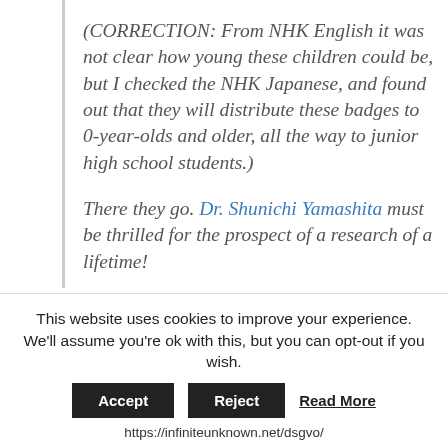(CORRECTION: From NHK English it was not clear how young these children could be, but I checked the NHK Japanese, and found out that they will distribute these badges to 0-year-olds and older, all the way to junior high school students.)
There they go. Dr. Shunichi Yamashita must be thrilled for the prospect of a research of a lifetime!
Fukushima Prefecture decided to fit ALL kindergarteners, elementary school and junior high school children in Fukushima Prefecture, 280,000 of them, with what
This website uses cookies to improve your experience. We'll assume you're ok with this, but you can opt-out if you wish.
Accept  Reject  Read More
https://infiniteunknown.net/dsgvo/